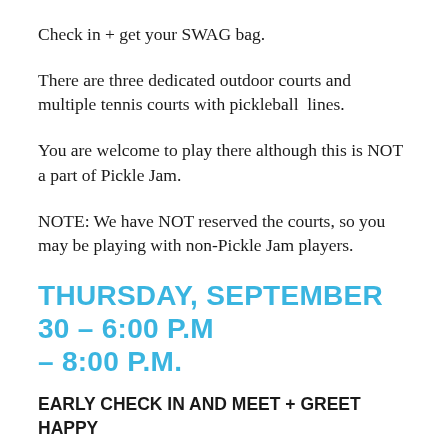Check in + get your SWAG bag.
There are three dedicated outdoor courts and multiple tennis courts with pickleball  lines.
You are welcome to play there although this is NOT a part of Pickle Jam.
NOTE: We have NOT reserved the courts, so you may be playing with non-Pickle Jam players.
THURSDAY, SEPTEMBER 30 – 6:00 P.M – 8:00 P.M.
EARLY CHECK IN AND MEET + GREET HAPPY